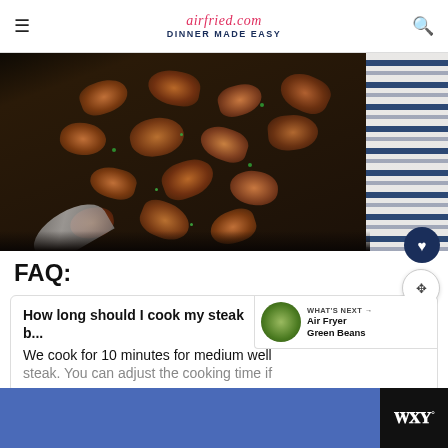airfried.com DINNER MADE EASY
[Figure (photo): Overhead photo of steak bites in an air fryer basket with herbs, with a striped blue and white towel on the right side]
FAQ:
How long should I cook my steak bites?
We cook for 10 minutes for medium well steak. You can adjust the cooking time if
[Figure (photo): WHAT'S NEXT - Air Fryer Green Beans promotional thumbnail with circular image of green beans]
WHAT'S NEXT → Air Fryer Green Beans